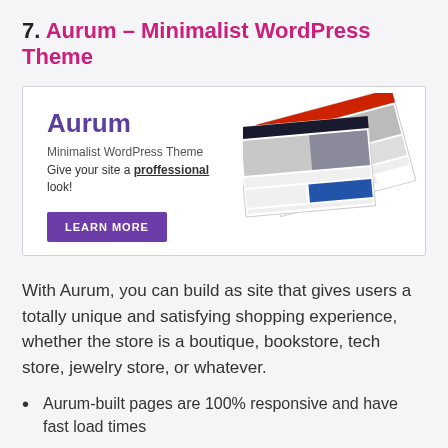7. Aurum – Minimalist WordPress Theme
[Figure (screenshot): Aurum WordPress theme promotional banner showing the theme name in purple, subtitle 'Minimalist WordPress Theme', tagline 'Give your site a proffessional look!', a 'LEARN MORE' button, and mockup screenshots of website templates on the right side.]
With Aurum, you can build as site that gives users a totally unique and satisfying shopping experience, whether the store is a boutique, bookstore, tech store, jewelry store, or whatever.
Aurum-built pages are 100% responsive and have fast load times